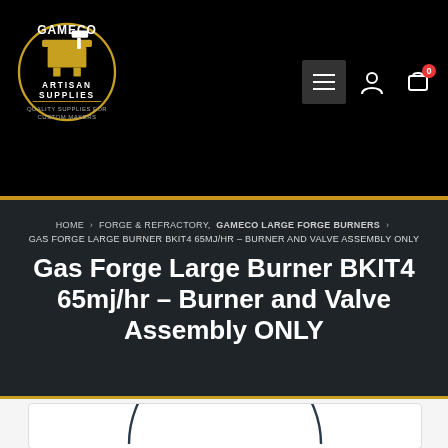GAMECO ARTISAN SUPPLIES - Quality Supplies for Custom Makers
HOME > FORGE & REFRACTORY, GAMECO LARGE FORGE BURNERS > GAS FORGE LARGE BURNER BKIT4 65MJ/HR – BURNER AND VALVE ASSEMBLY ONLY
Gas Forge Large Burner BKIT4 65mj/hr – Burner and Valve Assembly ONLY
[Figure (photo): Product image showing circular forge burner component, partially visible as arc at bottom of page]